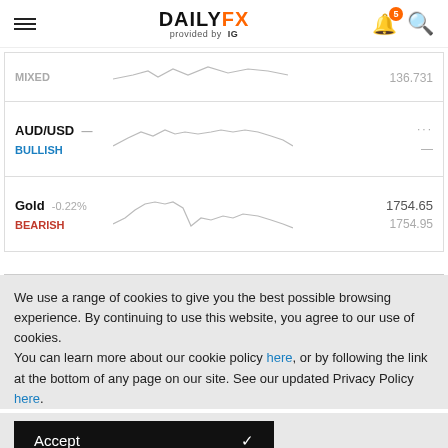DAILYFX provided by IG
[Figure (continuous-plot): Partial market row showing MIXED sentiment with a sparkline chart and value 136.731]
[Figure (continuous-plot): AUD/USD sparkline chart showing price fluctuation with bullish sentiment]
[Figure (continuous-plot): Gold sparkline chart showing -0.22% change with bearish sentiment, price 1754.65 / 1754.95]
We use a range of cookies to give you the best possible browsing experience. By continuing to use this website, you agree to our use of cookies.
You can learn more about our cookie policy here, or by following the link at the bottom of any page on our site. See our updated Privacy Policy here.
Accept